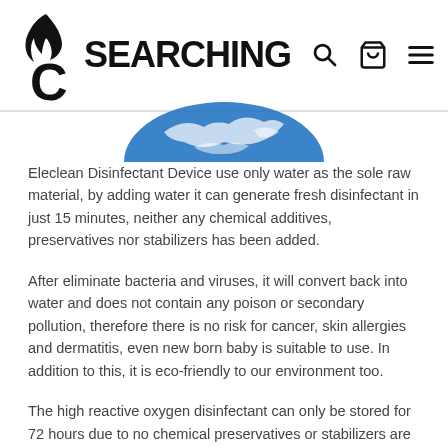[Figure (logo): Searching C logo with flame icon above the letter C, and navigation icons (search, cart, hamburger menu) on the right]
[Figure (illustration): Partial blue globe/earth illustration centered at top of content area]
Eleclean Disinfectant Device use only water as the sole raw material, by adding water it can generate fresh disinfectant in just 15 minutes, neither any chemical additives, preservatives nor stabilizers has been added.
After eliminate bacteria and viruses, it will convert back into water and does not contain any poison or secondary pollution, therefore there is no risk for cancer, skin allergies and dermatitis, even new born baby is suitable to use. In addition to this, it is eco-friendly to our environment too.
The high reactive oxygen disinfectant can only be stored for 72 hours due to no chemical preservatives or stabilizers are added.